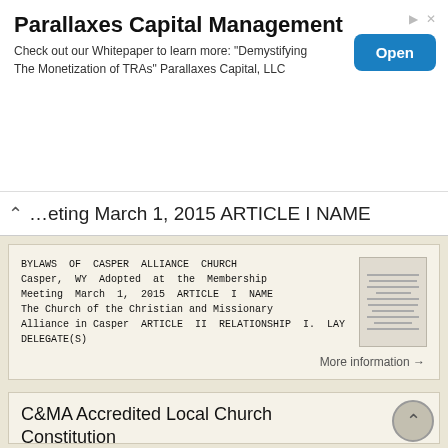[Figure (other): Advertisement banner for Parallaxes Capital Management with Open button]
…eting March 1, 2015 ARTICLE I NAME
BYLAWS OF CASPER ALLIANCE CHURCH Casper, WY Adopted at the Membership Meeting March 1, 2015 ARTICLE I NAME The Church of the Christian and Missionary Alliance in Casper ARTICLE II RELATIONSHIP I. LAY DELEGATE(S)
More information →
C&MA Accredited Local Church Constitution
C&MA Accredited Local Church Constitution UNIFORM CONSTITUTION FOR ACCREDITED CHURCHES OF THE